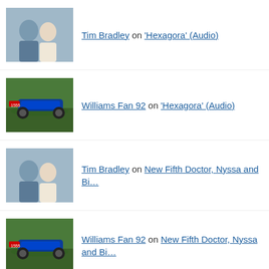Tim Bradley on 'Hexagora' (Audio)
Williams Fan 92 on 'Hexagora' (Audio)
Tim Bradley on New Fifth Doctor, Nyssa and Bi…
Williams Fan 92 on New Fifth Doctor, Nyssa and Bi…
Tim Bradley on Movie Review – 'That Dar…
Meow on Movie Review – 'That Dar…
Privacy & Cookies: This site uses cookies. By continuing to use this website, you agree to their use.
To find out more, including how to control cookies, see here: Cookie Policy